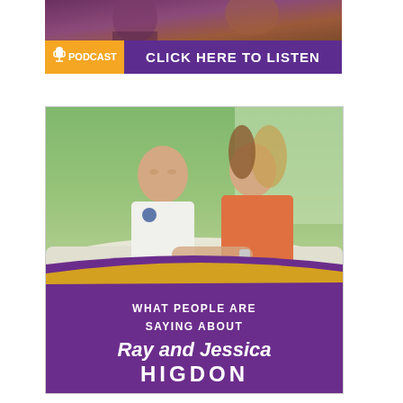[Figure (infographic): Podcast banner with orange 'PODCAST' label with microphone icon and purple bar reading 'CLICK HERE TO LISTEN', with photo of people behind it]
[Figure (infographic): Promotional image showing a man in white polo and woman in orange top sitting on a couch, with purple curved banner at bottom reading 'WHAT PEOPLE ARE SAYING ABOUT Ray and Jessica HIGDON']